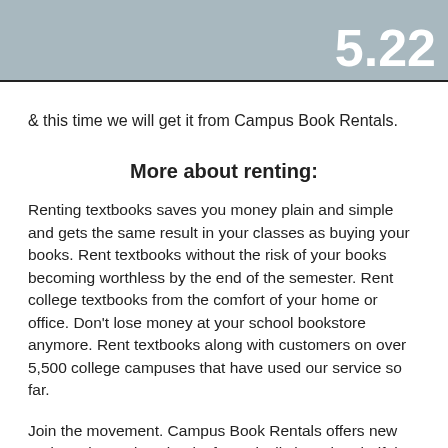5.22
& this time we will get it from Campus Book Rentals.
More about renting:
Renting textbooks saves you money plain and simple and gets the same result in your classes as buying your books. Rent textbooks without the risk of your books becoming worthless by the end of the semester. Rent college textbooks from the comfort of your home or office. Don't lose money at your school bookstore anymore. Rent textbooks along with customers on over 5,500 college campuses that have used our service so far.
Join the movement. Campus Book Rentals offers new and gently used textbooks for typically less than half the price you'll pay in your school bookstore. Search for the college book you need by...